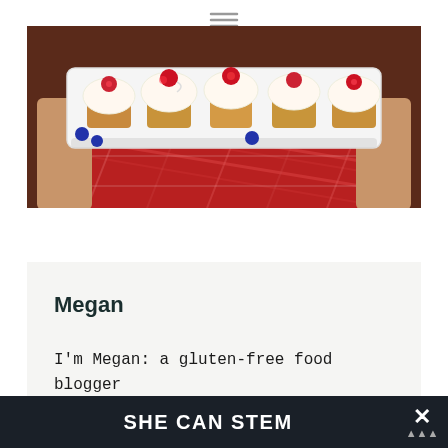[Figure (photo): Hamburger/menu icon with three horizontal lines, centered at top of page]
[Figure (photo): Photo of mini cupcakes with whipped cream frosting topped with raspberries and blueberries on a white rectangular platter, held by hands wearing a red plaid shirt]
Megan
I'm Megan: a gluten-free food blogger from Chicago and lover of all things food
SHE CAN STEM